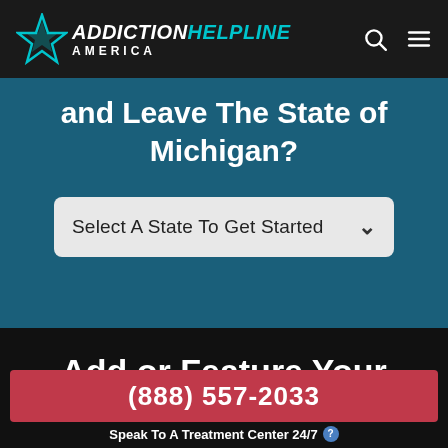ADDICTION HELPLINE AMERICA
and Leave The State of Michigan?
Select A State To Get Started
Add or Feature Your Center
(888) 557-2033
Speak To A Treatment Center 24/7